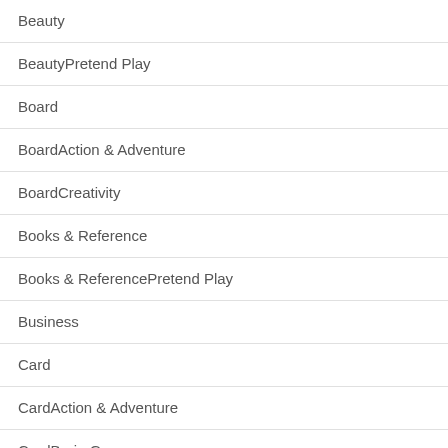Beauty
BeautyPretend Play
Board
BoardAction & Adventure
BoardCreativity
Books & Reference
Books & ReferencePretend Play
Business
Card
CardAction & Adventure
CardBrain Games
Casino
Casual